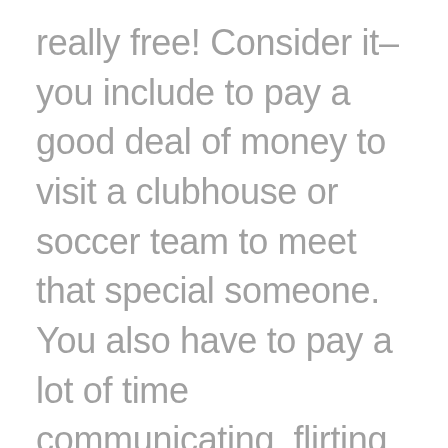really free! Consider it–you include to pay a good deal of money to visit a clubhouse or soccer team to meet that special someone. You also have to pay a lot of time communicating, flirting, and usually getting to know one another in order to have the opportunity at getting in a fully commited relationship. With online dating, a person do any of the things. All you have to do is simply use the internet to search through profiles and meet up with someone whenever they respond to the request for a